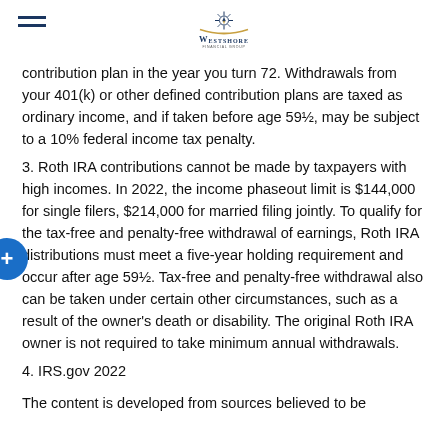Westshore Financial Group
contribution plan in the year you turn 72. Withdrawals from your 401(k) or other defined contribution plans are taxed as ordinary income, and if taken before age 59½, may be subject to a 10% federal income tax penalty.
3. Roth IRA contributions cannot be made by taxpayers with high incomes. In 2022, the income phaseout limit is $144,000 for single filers, $214,000 for married filing jointly. To qualify for the tax-free and penalty-free withdrawal of earnings, Roth IRA distributions must meet a five-year holding requirement and occur after age 59½. Tax-free and penalty-free withdrawal also can be taken under certain other circumstances, such as a result of the owner's death or disability. The original Roth IRA owner is not required to take minimum annual withdrawals.
4. IRS.gov 2022
The content is developed from sources believed to be